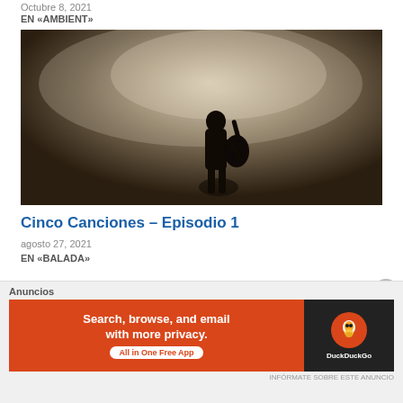Octubre 8, 2021
EN «AMBIENT»
[Figure (photo): Black and white / sepia-toned photo of a musician silhouette on stage with dramatic smoky backlight, holding a guitar]
Cinco Canciones – Episodio 1
agosto 27, 2021
EN «BALADA»
Anuncios
[Figure (screenshot): DuckDuckGo advertisement banner: orange left panel reads 'Search, browse, and email with more privacy. All in One Free App', dark right panel with DuckDuckGo duck logo]